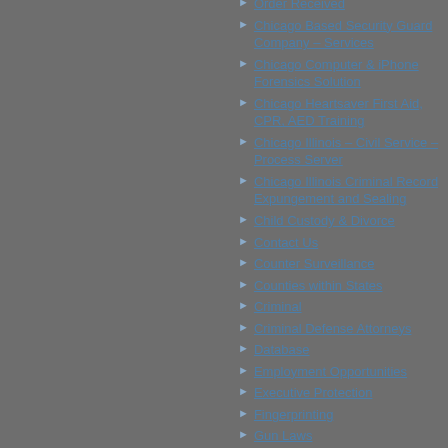Order Received
Chicago Based Security Guard Company – Services
Chicago Computer & iPhone Forensics Solution
Chicago Heartsaver First Aid, CPR, AED Training
Chicago Illinois – Civil Service – Process Server
Chicago Illinois Criminal Record Expungement and Sealing
Child Custody & Divorce
Contact Us
Counter Surveillance
Counties within States
Criminal
Criminal Defense Attorneys
Database
Employment Opportunities
Executive Protection
Fingerprinting
Gun Laws
Illinois Concealed Carry Permit &